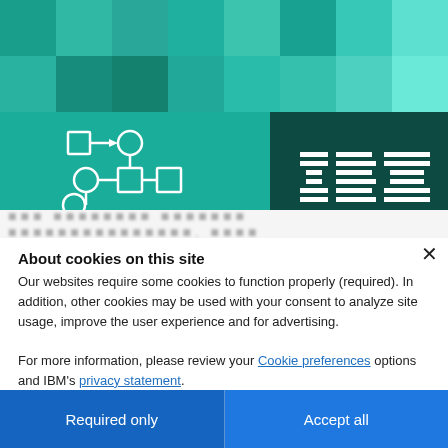[Figure (screenshot): IBM website banner with teal/dark teal mosaic tile pattern at top, a workflow/network diagram icon on the left in teal, and the IBM striped logo on the right on dark teal background.]
[blurred/redacted text line]
About cookies on this site
Our websites require some cookies to function properly (required). In addition, other cookies may be used with your consent to analyze site usage, improve the user experience and for advertising.

For more information, please review your Cookie preferences options and IBM's privacy statement.
Required only
Accept all